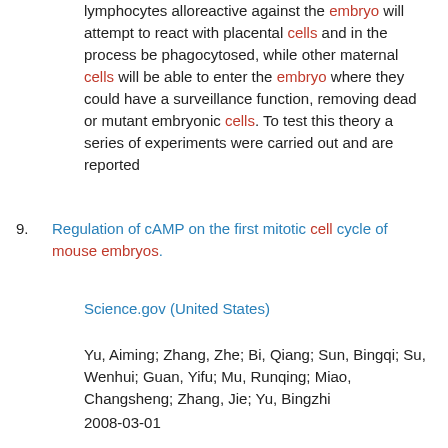lymphocytes alloreactive against the embryo will attempt to react with placental cells and in the process be phagocytosed, while other maternal cells will be able to enter the embryo where they could have a surveillance function, removing dead or mutant embryonic cells. To test this theory a series of experiments were carried out and are reported
9. Regulation of cAMP on the first mitotic cell cycle of mouse embryos.
Science.gov (United States)
Yu, Aiming; Zhang, Zhe; Bi, Qiang; Sun, Bingqi; Su, Wenhui; Guan, Yifu; Mu, Runqing; Miao, Changsheng; Zhang, Jie; Yu, Bingzhi
2008-03-01
Mitosis promoting factor (MPF) plays a central role during the first mitosis of mouse embryo. We demonstrated that MPF activity increased when one-cell stage mouse embryo initiated G2/M transition following the decrease of cyclic adenosine 3', 5'-monophosphate (cAMP) and cAMP-dependent protein kinase (PKA) activity. When cAMP and PKA activity increases again